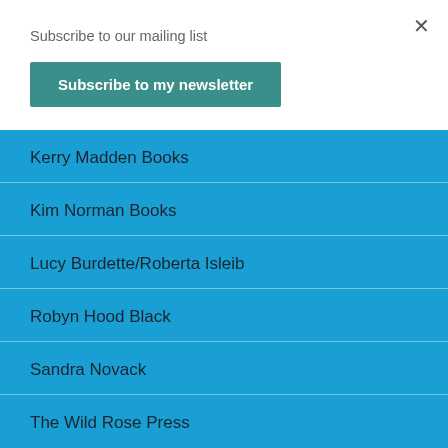Subscribe to our mailing list
Subscribe to my newsletter
Kerry Madden Books
Kim Norman Books
Lucy Burdette/Roberta Isleib
Robyn Hood Black
Sandra Novack
The Wild Rose Press